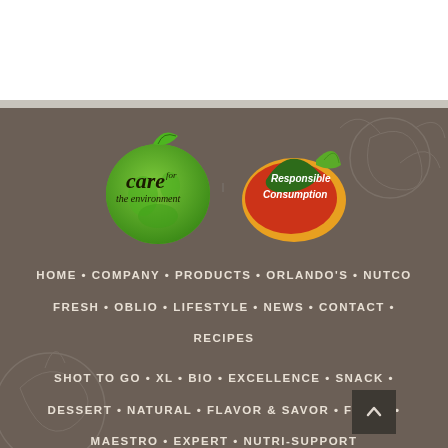[Figure (logo): Care for the Environment logo (green globe with leaf) and Responsible Consumption logo (mango/orange shape with text)]
HOME • COMPANY • PRODUCTS • ORLANDO'S • NUTCO FRESH • OBLIO • LIFESTYLE • NEWS • CONTACT • RECIPES
SHOT TO GO • XL • BIO • EXCELLENCE • SNACK • DESSERT • NATURAL • FLAVOR & SAVOR • FANCY • MAESTRO • EXPERT • NUTRI-SUPPORT